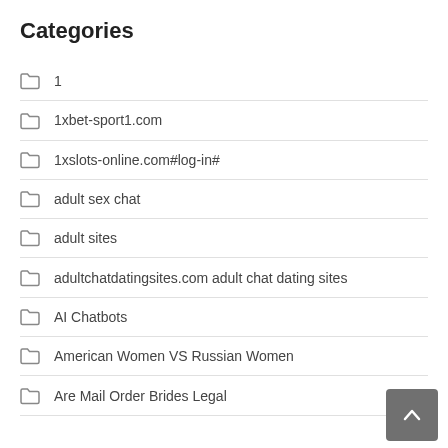Categories
1
1xbet-sport1.com
1xslots-online.com#log-in#
adult sex chat
adult sites
adultchatdatingsites.com adult chat dating sites
AI Chatbots
American Women VS Russian Women
Are Mail Order Brides Legal